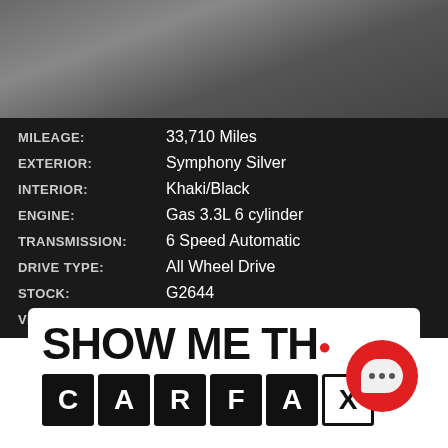[Figure (photo): Top portion of a vehicle photo on dark grey/asphalt background]
| MILEAGE: | 33,710 Miles |
| EXTERIOR: | Symphony Silver |
| INTERIOR: | Khaki/Black |
| ENGINE: | Gas 3.3L 6 cylinder |
| TRANSMISSION: | 6 Speed Automatic |
| DRIVE TYPE: | All Wheel Drive |
| STOCK: | G2644 |
| VIN: | KM8SMDHF9KU298293 |
[Figure (logo): Carfax logo with 'SHOW ME THE CARFAX' text and letter boxes]